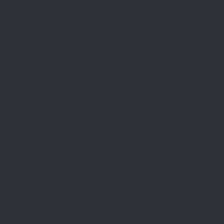yes. Mageia proved itself very sta only in Live run, but also in full ins Yes, I still have something to wor to dump Kubuntu. But that hour is And even now I have system whi Kubuntu, does not have issues w These two facts are more than en
Edit: question about MRIM and Q found MRIM plugin for Pidgin.
Post scriptum
When I was working on this post, Mageia users. He complains that worse than for Mandriva. I had si around Mageia brought links only so too? As one of the proposed s forum where people can discuss i getting community support. What useful?